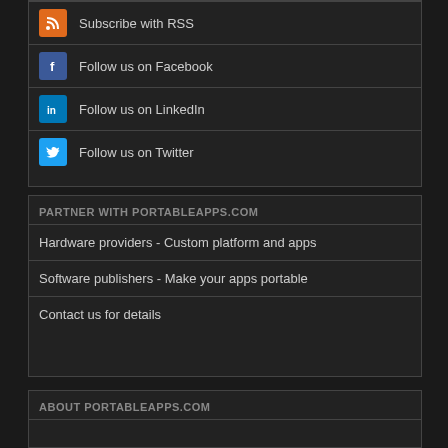Subscribe with RSS
Follow us on Facebook
Follow us on LinkedIn
Follow us on Twitter
PARTNER WITH PORTABLEAPPS.COM
Hardware providers - Custom platform and apps
Software publishers - Make your apps portable
Contact us for details
ABOUT PORTABLEAPPS.COM